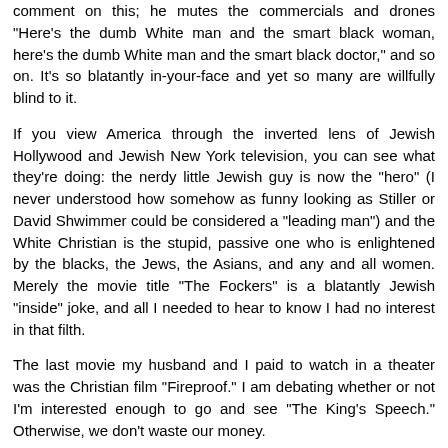comment on this; he mutes the commercials and drones "Here's the dumb White man and the smart black woman, here's the dumb White man and the smart black doctor," and so on. It's so blatantly in-your-face and yet so many are willfully blind to it.
If you view America through the inverted lens of Jewish Hollywood and Jewish New York television, you can see what they're doing: the nerdy little Jewish guy is now the "hero" (I never understood how somehow as funny looking as Stiller or David Shwimmer could be considered a "leading man") and the White Christian is the stupid, passive one who is enlightened by the blacks, the Jews, the Asians, and any and all women. Merely the movie title "The Fockers" is a blatantly Jewish "inside" joke, and all I needed to hear to know I had no interest in that filth.
The last movie my husband and I paid to watch in a theater was the Christian film "Fireproof." I am debating whether or not I'm interested enough to go and see "The King's Speech." Otherwise, we don't waste our money.
Reply